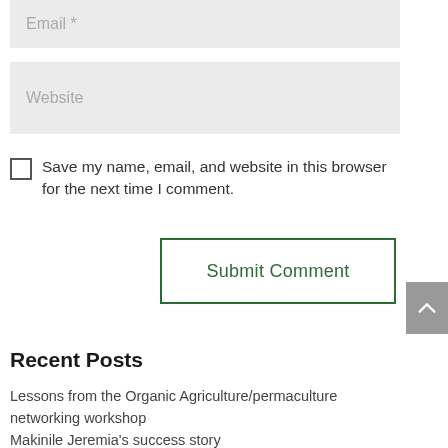Email *
Website
Save my name, email, and website in this browser for the next time I comment.
Submit Comment
Recent Posts
Lessons from the Organic Agriculture/permaculture networking workshop
Makinile Jeremia's success story